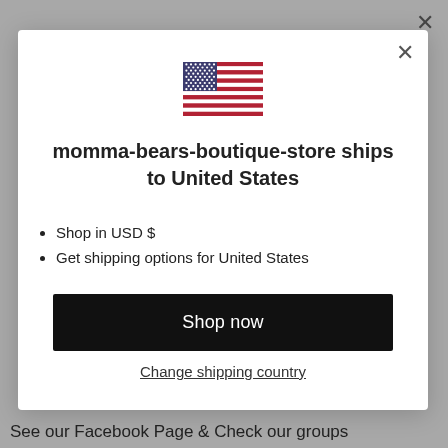[Figure (illustration): US flag emoji/icon centered at top of modal]
momma-bears-boutique-store ships to United States
Shop in USD $
Get shipping options for United States
Shop now
Change shipping country
See our Facebook Page & Check our groups